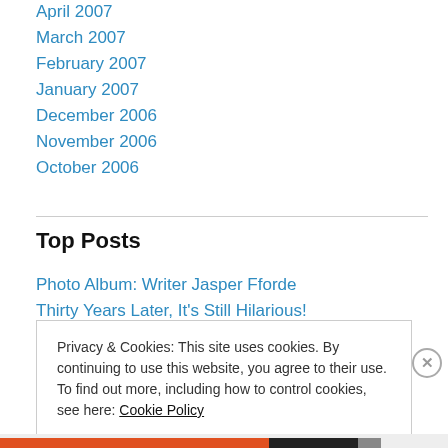April 2007
March 2007
February 2007
January 2007
December 2006
November 2006
October 2006
Top Posts
Photo Album: Writer Jasper Fforde
Thirty Years Later, It's Still Hilarious!
Privacy & Cookies: This site uses cookies. By continuing to use this website, you agree to their use.
To find out more, including how to control cookies, see here: Cookie Policy
Close and accept